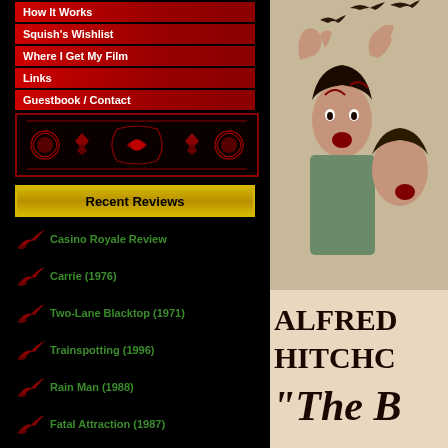How It Works
Squish's Wishlist
Where I Get My Film
Links
Guestbook / Contact
Recent Reviews
Casino Royale Review
Carrie (1976)
Two-Lane Blacktop (1971)
Trainspotting (1996)
Rain Man (1988)
Fatal Attraction (1987)
Targets (1968)
An Education (2009)
Mirror, The (1974)
Fargo (1996)
[Figure (photo): Alfred Hitchcock movie poster for 'The Birds' showing a woman being attacked by birds, with text 'ALFRED HITCHCO' and '"The B']